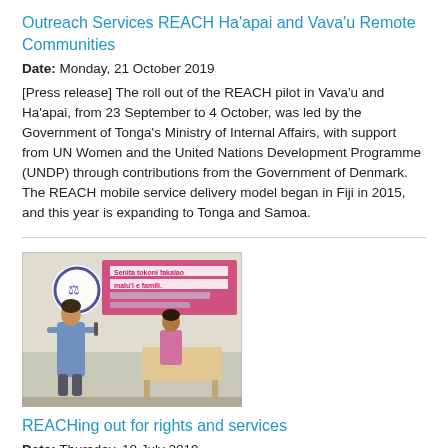Outreach Services REACH Ha'apai and Vava'u Remote Communities
Date: Monday, 21 October 2019
[Press release] The roll out of the REACH pilot in Vava'u and Ha'apai, from 23 September to 4 October, was led by the Government of Tonga's Ministry of Internal Affairs, with support from UN Women and the United Nations Development Programme (UNDP) through contributions from the Government of Denmark. The REACH mobile service delivery model began in Fiji in 2015, and this year is expanding to Tonga and Samoa.
[Figure (photo): A woman speaking at a podium at an event. A banner in the background reads 'Senita tokoni fakalao malu'i e famili.' Another person is seated at a table behind her.]
REACHing out for rights and services
Date: Thursday, 18 July 2019
An unexpected visit sparked a glimmer of hope during a dark time in Arihi's life. She is now an empowered survivor of domestic violence